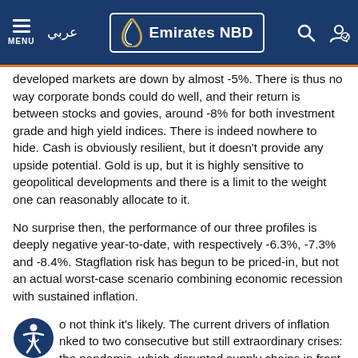Emirates NBD — Navigation bar with menu, Arabic text, logo, search and profile icons
developed markets are down by almost -5%. There is thus no way corporate bonds could do well, and their return is between stocks and govies, around -8% for both investment grade and high yield indices. There is indeed nowhere to hide. Cash is obviously resilient, but it doesn't provide any upside potential. Gold is up, but it is highly sensitive to geopolitical developments and there is a limit to the weight one can reasonably allocate to it.
No surprise then, the performance of our three profiles is deeply negative year-to-date, with respectively -6.3%, -7.3% and -8.4%. Stagflation risk has begun to be priced-in, but not an actual worst-case scenario combining economic recession with sustained inflation.
o not think it's likely. The current drivers of inflation nked to two consecutive but still extraordinary crises: the pandemic, which disrupted supply chains in front of an...